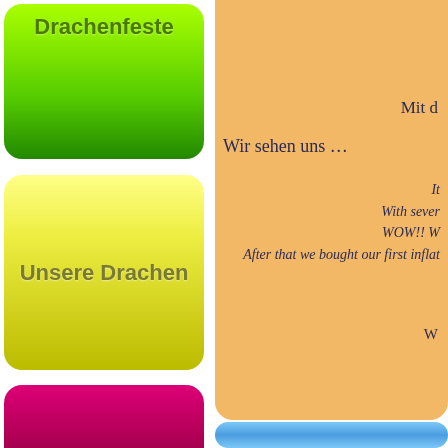Drachenfeste
Unsere Drachen
Kontakt
Mit d
Wir sehen uns …
It
With sever
WOW!! W
After that we bought our first inflat
W